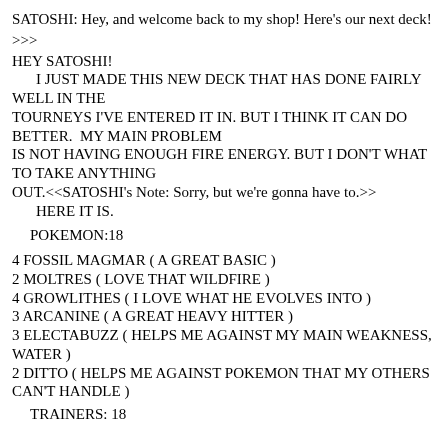SATOSHI: Hey, and welcome back to my shop! Here's our next deck!
>>>
HEY SATOSHI!
   I JUST MADE THIS NEW DECK THAT HAS DONE FAIRLY WELL IN THE
TOURNEYS I'VE ENTERED IT IN. BUT I THINK IT CAN DO BETTER.  MY MAIN PROBLEM
IS NOT HAVING ENOUGH FIRE ENERGY. BUT I DON'T WHAT TO TAKE ANYTHING
OUT.<<SATOSHI's Note: Sorry, but we're gonna have to.>>
  HERE IT IS.
POKEMON:18
4 FOSSIL MAGMAR ( A GREAT BASIC )
2 MOLTRES ( LOVE THAT WILDFIRE )
4 GROWLITHES ( I LOVE WHAT HE EVOLVES INTO )
3 ARCANINE ( A GREAT HEAVY HITTER )
3 ELECTABUZZ ( HELPS ME AGAINST MY MAIN WEAKNESS, WATER )
2 DITTO ( HELPS ME AGAINST POKEMON THAT MY OTHERS CAN'T HANDLE )
TRAINERS: 18